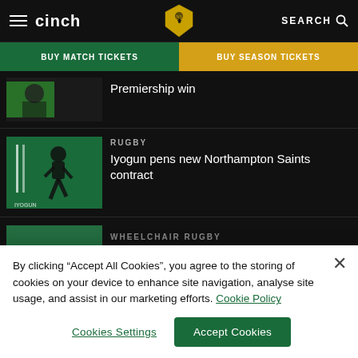cinch | Northampton Saints | SEARCH
BUY MATCH TICKETS | BUY SEASON TICKETS
[Figure (photo): Action sports photo of rugby players, partial view]
Premiership win
[Figure (photo): Player Iyogun on green background with IYOGUN text]
RUGBY
Iyogun pens new Northampton Saints contract
[Figure (photo): Partial thumbnail for wheelchair rugby article]
WHEELCHAIR RUGBY
By clicking “Accept All Cookies”, you agree to the storing of cookies on your device to enhance site navigation, analyse site usage, and assist in our marketing efforts. Cookie Policy
Cookies Settings
Accept Cookies